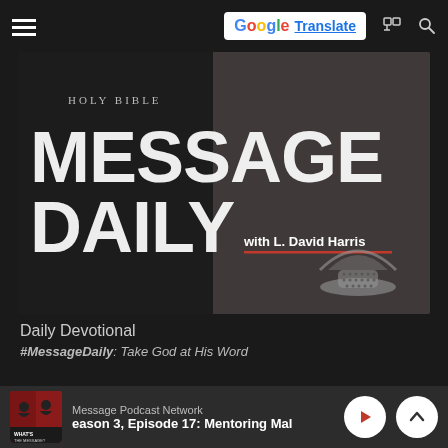[Figure (screenshot): Website screenshot showing a podcast page for 'Message Daily with L. David Harris' with a Google Translate button in the top right, a podcast cover image showing HOLY BIBLE text and MESSAGE DAILY branding, daily devotional text below, and a bottom player bar for Message Podcast Network.]
Daily Devotional
#MessageDaily: Take God at His Word
Message Podcast Network
eason 3, Episode 17: Mentoring Mal